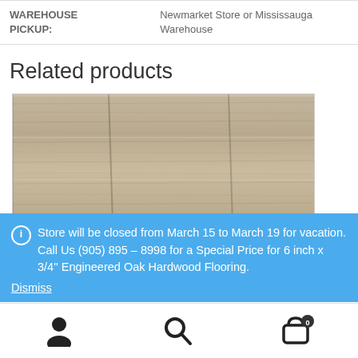| WAREHOUSE PICKUP: | Newmarket Store or Mississauga Warehouse |
Related products
[Figure (photo): Photo of engineered oak hardwood flooring planks with a grey-brown wood grain texture]
Store will be closed from March 15 to March 19 for vacation. Call Us (905) 895 – 8998 for a Special Price for 6 inch x 3/4'' Engineered Oak Hardwood Flooring.
Dismiss
User icon | Search icon | Cart icon (0)